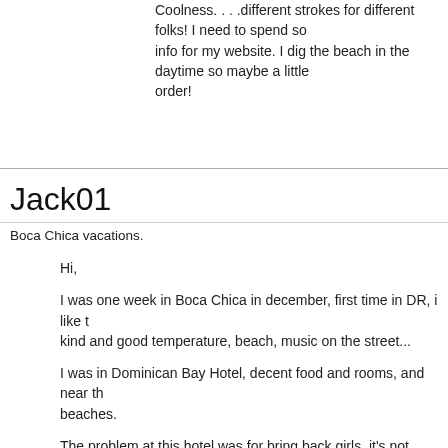Coolness. . . .different strokes for different folks! I need to spend some info for my website. I dig the beach in the daytime so maybe a little order!
Jack01
Boca Chica vacations.
Hi,
I was one week in Boca Chica in december, first time in DR, i like the kind and good temperature, beach, music on the street...
I was in Dominican Bay Hotel, decent food and rooms, and near the beaches.
The problem at this hotel was for bring back girls, it's not possible for 2000 Rd$ at the admission. I was told it's was possible to pay less met one who accepted.
In the downtown, I was in the Duarte Street, the most important street girls in the bars. At 7 pm, the Tourism Police (Politur)close the street tables and chairs on the street.
The girls must stay into the bars, and if they want to walk on the street tourists ortherwise Politur arrest them.